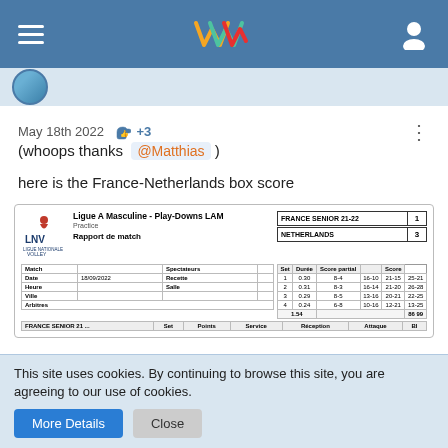Navigation bar with hamburger menu, LNV-style logo, and user icon
May 18th 2022 👍+3
(whoops thanks @Matthias )
here is the France-Netherlands box score
[Figure (screenshot): Box score image showing Ligue A Masculine Play-Downs LAM match report. France Senior 21-22 vs Netherlands. France 1, Netherlands 3. Sets breakdown with duration and partial scores.]
This site uses cookies. By continuing to browse this site, you are agreeing to our use of cookies.